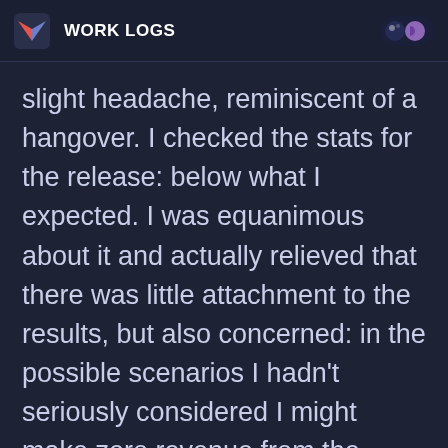WORK LOGS
slight headache, reminiscent of a hangover. I checked the stats for the release: below what I expected. I was equanimous about it and actually relieved that there was little attachment to the results, but also concerned: in the possible scenarios I hadn't seriously considered I might make zero revenue from the whole endeavor, but it's just a matter of asking for help.
In this state I was able to get very little done, fixing bugs here and there, but the